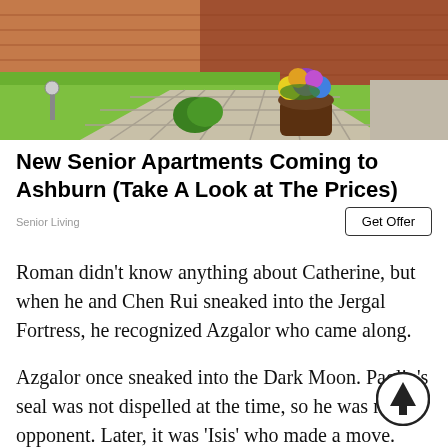[Figure (photo): Outdoor garden/landscaping photo showing stone tile pathway, green grass, decorative solar lights, trimmed boxwood shrubs, and a large flower pot with colorful blooms (yellow, purple, blue) against a brick building background.]
New Senior Apartments Coming to Ashburn (Take A Look at The Prices)
Senior Living
Get Offer
Roman didn't know anything about Catherine, but when he and Chen Rui sneaked into the Jergal Fortress, he recognized Azgalor who came along.
Azgalor once sneaked into the Dark Moon. Paglio's seal was not dispelled at the time, so he was not an opponent. Later, it was 'Isis' who made a move. Roman knew Azgalor was the powerhouse of the peak stage of the